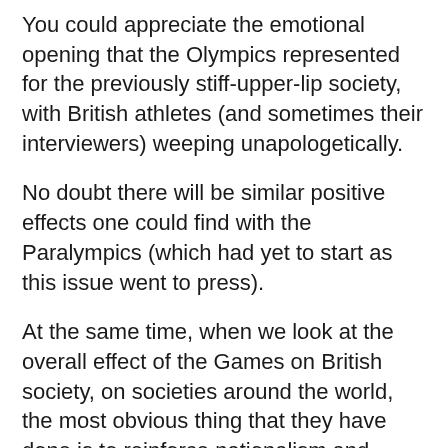You could appreciate the emotional opening that the Olympics represented for the previously stiff-upper-lip society, with British athletes (and sometimes their interviewers) weeping unapologetically.
No doubt there will be similar positive effects one could find with the Paralympics (which had yet to start as this issue went to press).
At the same time, when we look at the overall effect of the Games on British society, on societies around the world, the most obvious thing that they have done is to reinforce nationalism and established power. The obsession with ‘national’ heroes and ‘national’ medals reinforces an irrational loyalty to ‘the nation’. (Quite apart from the fact that, here, the